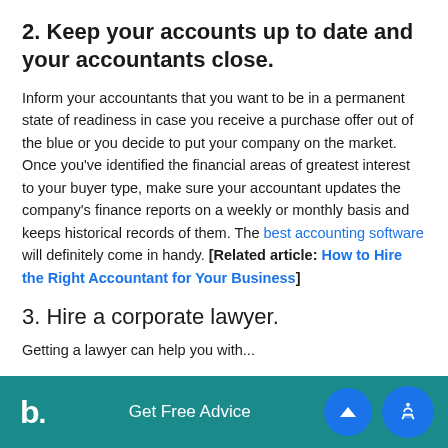2. Keep your accounts up to date and your accountants close.
Inform your accountants that you want to be in a permanent state of readiness in case you receive a purchase offer out of the blue or you decide to put your company on the market. Once you've identified the financial areas of greatest interest to your buyer type, make sure your accountant updates the company's finance reports on a weekly or monthly basis and keeps historical records of them. The best accounting software will definitely come in handy. [Related article: How to Hire the Right Accountant for Your Business]
3. Hire a corporate lawyer.
Getting a lawyer can help you with...
b. Get Free Advice